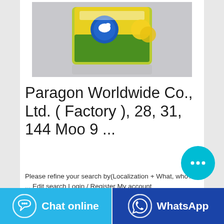[Figure (photo): Product image of a package (appears to be a food/consumer product with yellow and green packaging featuring a bird/chicken logo), displayed against a gray background]
Paragon Worldwide Co., Ltd. ( Factory ), 28, 31, 144 Moo 9 ...
Please refine your search by(Localization + What, who? ... Edit search Login / Register My account
[Figure (other): Cyan circular chat bubble button with three dots (…) indicating a messaging/chat feature]
Chat online
WhatsApp